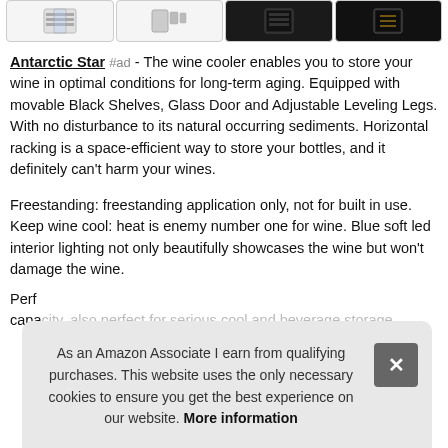[Figure (screenshot): Four product thumbnail images in a row, showing wine cooler product views — first shows front with shelves, second shows side/multiple views, third and fourth are dark product shots.]
Antarctic Star #ad - The wine cooler enables you to store your wine in optimal conditions for long-term aging. Equipped with movable Black Shelves, Glass Door and Adjustable Leveling Legs. With no disturbance to its natural occurring sediments. Horizontal racking is a space-efficient way to store your bottles, and it definitely can't harm your wines.
Freestanding: freestanding application only, not for built in use. Keep wine cool: heat is enemy number one for wine. Blue soft led interior lighting not only beautifully showcases the wine but won't damage the wine.
Perf capacity, also perfect for serious cool and beverage storage.
As an Amazon Associate I earn from qualifying purchases. This website uses the only necessary cookies to ensure you get the best experience on our website. More information